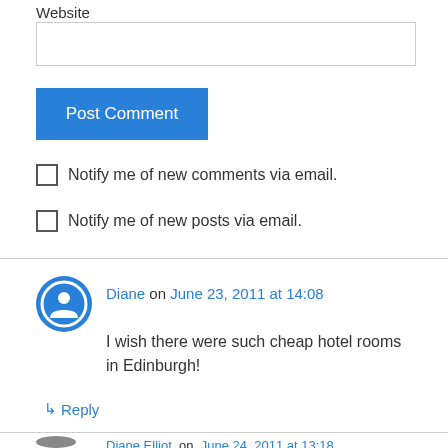Website
[Figure (screenshot): Empty text input box for website URL]
[Figure (screenshot): Blue Post Comment button]
Notify me of new comments via email.
Notify me of new posts via email.
Diane on June 23, 2011 at 14:08
I wish there were such cheap hotel rooms in Edinburgh!
↳ Reply
Diane Elliot on June 24, 2011 at 13:18